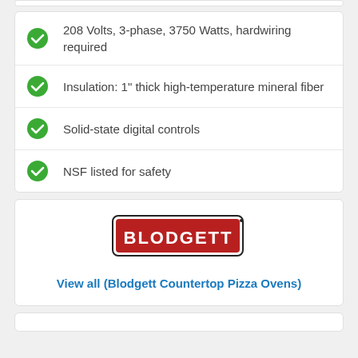208 Volts, 3-phase, 3750 Watts, hardwiring required
Insulation: 1" thick high-temperature mineral fiber
Solid-state digital controls
NSF listed for safety
[Figure (logo): Blodgett brand logo: red rectangle with rounded corners, white bold text 'BLODGETT', black border outline, small registered trademark dot]
View all (Blodgett Countertop Pizza Ovens)